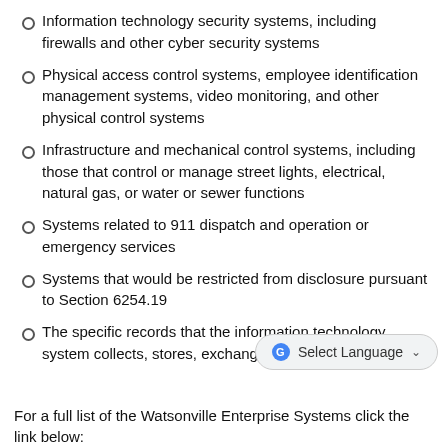Information technology security systems, including firewalls and other cyber security systems
Physical access control systems, employee identification management systems, video monitoring, and other physical control systems
Infrastructure and mechanical control systems, including those that control or manage street lights, electrical, natural gas, or water or sewer functions
Systems related to 911 dispatch and operation or emergency services
Systems that would be restricted from disclosure pursuant to Section 6254.19
The specific records that the information technology system collects, stores, exchanges, or analyzes
For a full list of the Watsonville Enterprise Systems click the link below: